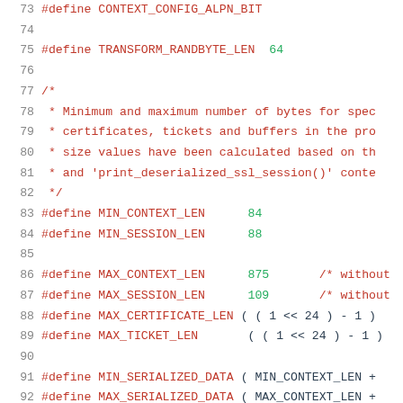73    #define CONTEXT_CONFIG_ALPN_BIT
74
75    #define TRANSFORM_RANDBYTE_LEN  64
76
77    /*
78     * Minimum and maximum number of bytes for spec
79     * certificates, tickets and buffers in the pro
80     * size values have been calculated based on th
81     * and 'print_deserialized_ssl_session()' conte
82     */
83    #define MIN_CONTEXT_LEN      84
84    #define MIN_SESSION_LEN      88
85
86    #define MAX_CONTEXT_LEN      875       /* without
87    #define MAX_SESSION_LEN      109       /* without
88    #define MAX_CERTIFICATE_LEN ( ( 1 << 24 ) - 1 )
89    #define MAX_TICKET_LEN       ( ( 1 << 24 ) - 1 )
90
91    #define MIN_SERIALIZED_DATA ( MIN_CONTEXT_LEN +
92    #define MAX_SERIALIZED_DATA ( MAX_CONTEXT_LEN +
93                                   MAX_CERTIFICATE_L
94